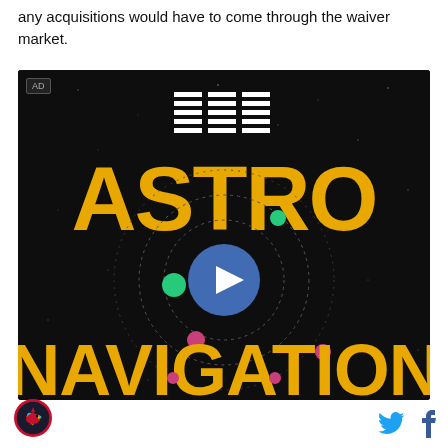any acquisitions would have to come through the waiver market.
[Figure (screenshot): IBM advertisement showing 'ASTRO NAVIGATION' text in large gold letters on a dark/black starfield background, with IBM logo at top, a video play button in the center, and colorful planet-like dots. 'AD' label in upper left corner.]
[Figure (logo): Circular sports team logo (Cardinals) in bottom left]
[Figure (other): Twitter bird icon and Facebook 'f' icon social sharing buttons in bottom right]